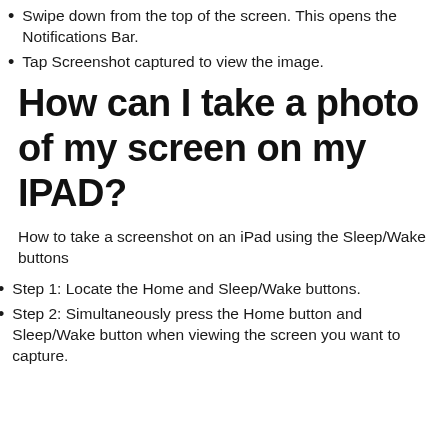Swipe down from the top of the screen. This opens the Notifications Bar.
Tap Screenshot captured to view the image.
How can I take a photo of my screen on my IPAD?
How to take a screenshot on an iPad using the Sleep/Wake buttons
Step 1: Locate the Home and Sleep/Wake buttons.
Step 2: Simultaneously press the Home button and Sleep/Wake button when viewing the screen you want to capture.